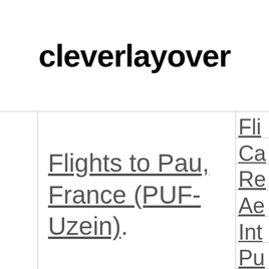cleverlayover
Flights to Pau, France (PUF-Uzein)
Fli
Ca
Re
Ae
Int
Pu